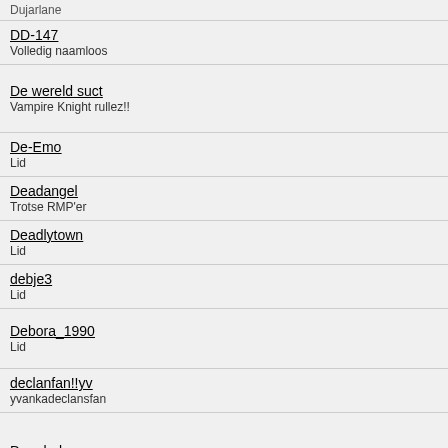DD-147
Volledig naamloos
De wereld suct
Vampire Knight rullez!!
De-Emo
Lid
Deadangel
Trotse RMP'er
Deadlytown
Lid
debje3
Lid
Debora_1990
Lid
declanfan!!yv
yvankadeclansfan
Deegbal
Visitor Message Moderator